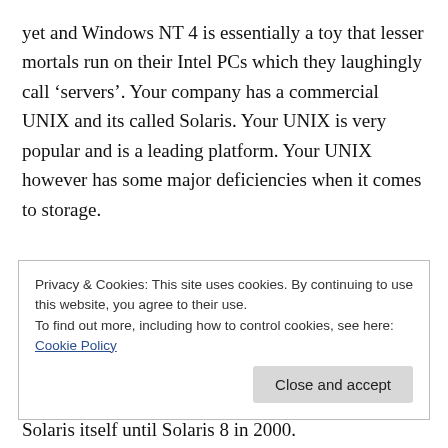yet and Windows NT 4 is essentially a toy that lesser mortals run on their Intel PCs which they laughingly call ‘servers’. Your company has a commercial UNIX and its called Solaris. Your UNIX is very popular and is a leading platform. Your UNIX however has some major deficiencies when it comes to storage.

IRIX – a competing proprietary UNIX – has the fantastic XFS file system which vastly out performs your own file system which is still UFS (“Unix File System” – originally developed in the early 1980s) and
Privacy & Cookies: This site uses cookies. By continuing to use this website, you agree to their use.
To find out more, including how to control cookies, see here:
Cookie Policy
Close and accept
Solaris itself until Solaris 8 in 2000.